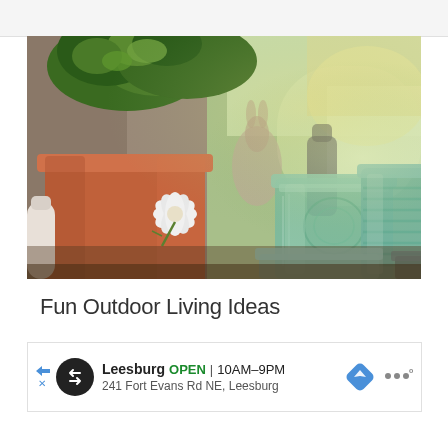[Figure (photo): Outdoor garden scene with terracotta clay pot containing white flowers and green herbs, alongside decorative teal/green glass jars and vessels on a table, with blurred green outdoor background and sunlight]
Fun Outdoor Living Ideas
Leesburg OPEN 10AM–9PM 241 Fort Evans Rd NE, Leesburg